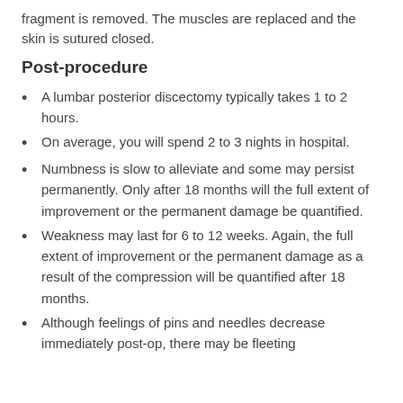fragment is removed. The muscles are replaced and the skin is sutured closed.
Post-procedure
A lumbar posterior discectomy typically takes 1 to 2 hours.
On average, you will spend 2 to 3 nights in hospital.
Numbness is slow to alleviate and some may persist permanently. Only after 18 months will the full extent of improvement or the permanent damage be quantified.
Weakness may last for 6 to 12 weeks. Again, the full extent of improvement or the permanent damage as a result of the compression will be quantified after 18 months.
Although feelings of pins and needles decrease immediately post-op, there may be fleeting